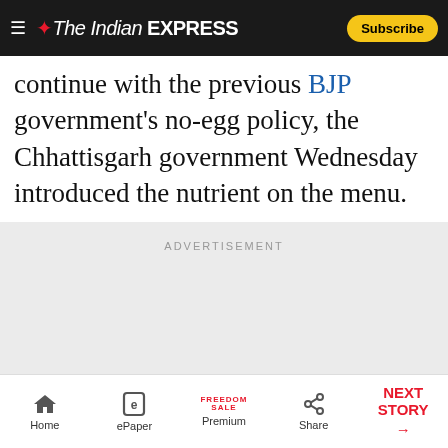The Indian EXPRESS — Subscribe
continue with the previous BJP government's no-egg policy, the Chhattisgarh government Wednesday introduced the nutrient on the menu.
[Figure (other): Advertisement placeholder area with label 'ADVERTISEMENT']
Home | ePaper | Premium (FREEDOM SALE) | Share | NEXT STORY